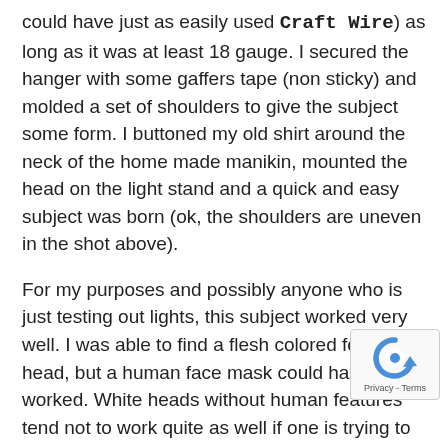could have just as easily used Craft Wire) as long as it was at least 18 gauge. I secured the hanger with some gaffers tape (non sticky) and molded a set of shoulders to give the subject some form. I buttoned my old shirt around the neck of the home made manikin, mounted the head on the light stand and a quick and easy subject was born (ok, the shoulders are uneven in the shot above).
For my purposes and possibly anyone who is just testing out lights, this subject worked very well. I was able to find a flesh colored foam head, but a human face mask could have worked. White heads without human features tend not to work quite as well if one is trying to get a real feel for the exposure. Be careful not to spray paint a white wig foam head since the solvent in the spray paint will melt the foam!
Manikins can be expensive, with a plastic human appearing manikin starting at about $150 and ab... Fiberglass manikins can often cost much more and
[Figure (logo): reCAPTCHA badge with blue circular arrow icon and Privacy - Terms text]